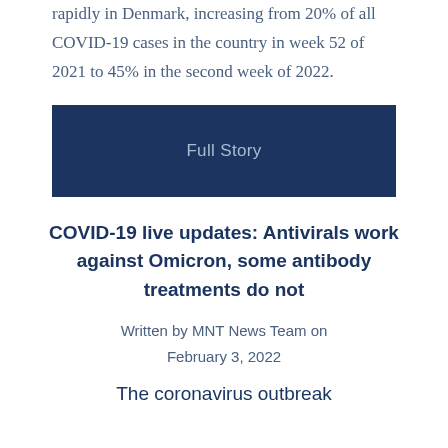rapidly in Denmark, increasing from 20% of all COVID-19 cases in the country in week 52 of 2021 to 45% in the second week of 2022.
Full Story
COVID-19 live updates: Antivirals work against Omicron, some antibody treatments do not
Written by MNT News Team on February 3, 2022
The coronavirus outbreak